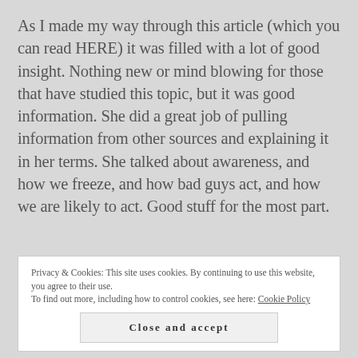As I made my way through this article (which you can read HERE) it was filled with a lot of good insight. Nothing new or mind blowing for those that have studied this topic, but it was good information. She did a great job of pulling information from other sources and explaining it in her terms. She talked about awareness, and how we freeze, and how bad guys act, and how we are likely to act. Good stuff for the most part.
Privacy & Cookies: This site uses cookies. By continuing to use this website, you agree to their use.
To find out more, including how to control cookies, see here: Cookie Policy
Close and accept